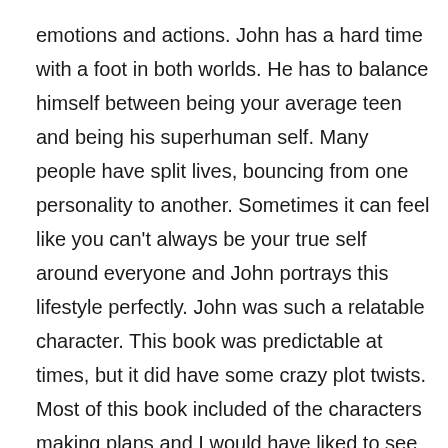emotions and actions. John has a hard time with a foot in both worlds. He has to balance himself between being your average teen and being his superhuman self. Many people have split lives, bouncing from one personality to another. Sometimes it can feel like you can't always be your true self around everyone and John portrays this lifestyle perfectly. John was such a relatable character. This book was predictable at times, but it did have some crazy plot twists. Most of this book included of the characters making plans and I would have liked to see the characters just play out the situations and not always have a step-by-step execution. I read the last hundred pages or so all at once! The climax was so thrilling and I couldn't put the book down! The ending was a bit abrupt, but I would still recommend this book to any fiction reader!